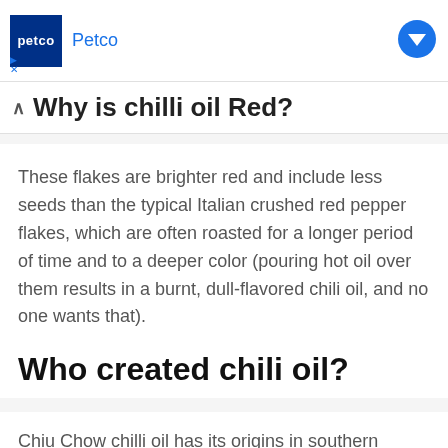[Figure (other): Petco advertisement banner with dark blue logo box showing 'petco' text, Petco label in blue, and a blue arrow icon on the right. Small ad indicator icons (triangle and X) on lower left.]
Why is chilli oil Red?
These flakes are brighter red and include less seeds than the typical Italian crushed red pepper flakes, which are often roasted for a longer period of time and to a deeper color (pouring hot oil over them results in a burnt, dull-flavored chili oil, and no one wants that).
Who created chili oil?
Chiu Chow chilli oil has its origins in southern China, notably in the city of Chiu